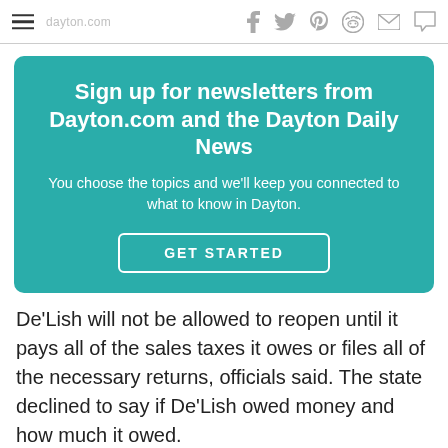Social share icons: facebook, twitter, pinterest, reddit, email, comment
[Figure (infographic): Teal newsletter signup box with title 'Sign up for newsletters from Dayton.com and the Dayton Daily News', subtitle 'You choose the topics and we'll keep you connected to what to know in Dayton.' and a GET STARTED button]
De'Lish will not be allowed to reopen until it pays all of the sales taxes it owes or files all of the necessary returns, officials said. The state declined to say if De'Lish owed money and how much it owed.